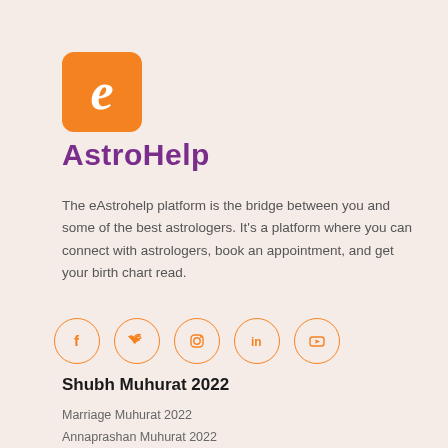[Figure (logo): eAstroHelp logo: orange rounded square with white italic letter 'e', followed by 'AstroHelp' text in purple below]
The eAstrohelp platform is the bridge between you and some of the best astrologers. It's a platform where you can connect with astrologers, book an appointment, and get your birth chart read.
[Figure (other): Row of five social media icon circles (Facebook, Twitter, Instagram, LinkedIn, YouTube) outlined in orange]
Shubh Muhurat 2022
Marriage Muhurat 2022
Annaprashan Muhurat 2022